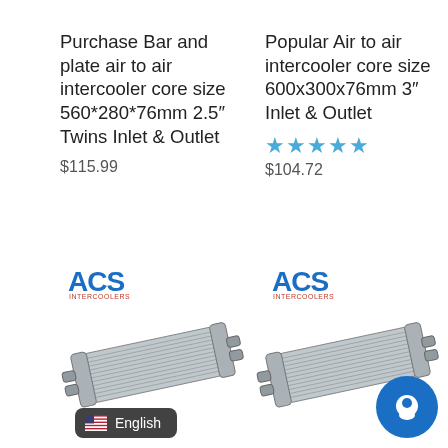Purchase Bar and plate air to air intercooler core size 560*280*76mm 2.5″ Twins Inlet & Outlet
$115.99
Popular Air to air intercooler core size 600x300x76mm 3″ Inlet & Outlet
★★★★★
$104.72
[Figure (logo): ACS Intercoolers logo, left column]
[Figure (logo): ACS Intercoolers logo, right column]
[Figure (photo): Bar and plate air to air intercooler, silver/aluminum, horizontal rectangular with inlet/outlet ports]
[Figure (photo): Air to air intercooler core, silver/aluminum, horizontal rectangular with inlet/outlet ports, with chat button overlay]
English